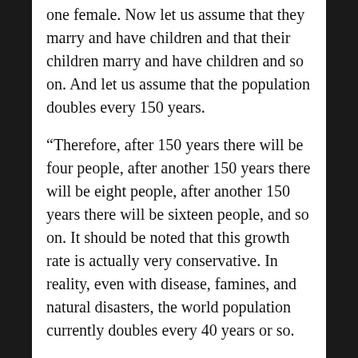one female. Now let us assume that they marry and have children and that their children marry and have children and so on. And let us assume that the population doubles every 150 years.
“Therefore, after 150 years there will be four people, after another 150 years there will be eight people, after another 150 years there will be sixteen people, and so on. It should be noted that this growth rate is actually very conservative. In reality, even with disease, famines, and natural disasters, the world population currently doubles every 40 years or so.
“After 32 doublings, which is only 4,800 years, the world population would have reached almost 8.6 billion. That’s 2 billion more than the current population of 6.5 billion people, which was